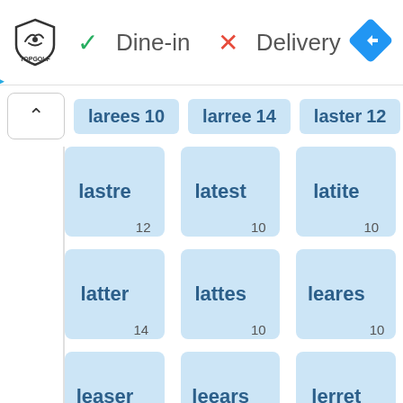[Figure (logo): Topgolf logo with shield and bird icon]
✓ Dine-in  ✗ Delivery
[Figure (other): Blue diamond navigation arrow icon]
larees 10
larree 14
laster 12
lastre 12
latest 10
latite 10
latter 14
lattes 10
leares 10
leaser 10
leears 10
lerret 16
lester 12
letter 14
lettre 14
lierre 14
lirate 12
lisere 10